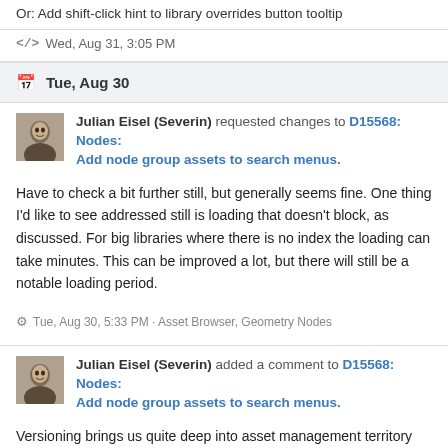Or: Add shift-click hint to library overrides button tooltip
</>  Wed, Aug 31, 3:05 PM
Tue, Aug 30
Julian Eisel (Severin) requested changes to D15568: Nodes: Add node group assets to search menus.
Have to check a bit further still, but generally seems fine. One thing I'd like to see addressed still is loading that doesn't block, as discussed. For big libraries where there is no index the loading can take minutes. This can be improved a lot, but there will still be a notable loading period.
Tue, Aug 30, 5:33 PM · Asset Browser, Geometry Nodes
Julian Eisel (Severin) added a comment to D15568: Nodes: Add node group assets to search menus.
Versioning brings us quite deep into asset management territory and the asset project intentionally avoids that. This stuff is complex and every solution brings own benefits and problems. If not designed with great effort and care, we end up limiting ourselves significantly...